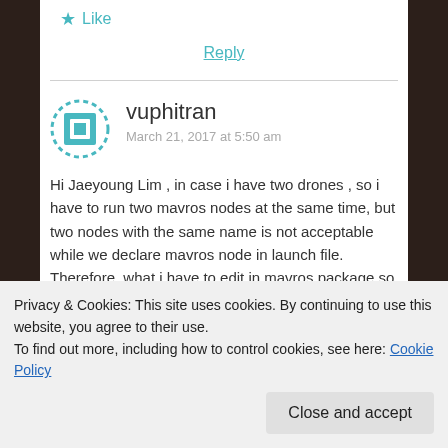★ Like
Reply
vuphitran
March 21, 2017 at 5:50 am
Hi Jaeyoung Lim , in case i have two drones , so i have to run two mavros nodes at the same time, but two nodes with the same name is not acceptable while we declare mavros node in launch file. Therefore, what i have to edit in mavros package so that I can run mavros node at
Privacy & Cookies: This site uses cookies. By continuing to use this website, you agree to their use.
To find out more, including how to control cookies, see here: Cookie Policy
Close and accept